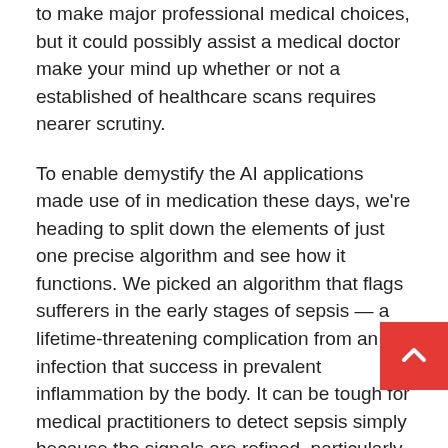to make major professional medical choices, but it could possibly assist a medical doctor make your mind up whether or not a established of healthcare scans requires nearer scrutiny.
To enable demystify the AI applications made use of in medication these days, we're heading to split down the elements of just one precise algorithm and see how it functions. We picked an algorithm that flags sufferers in the early stages of sepsis — a lifetime-threatening complication from an an infection that success in prevalent inflammation by the body. It can be tough for medical practitioners to detect sepsis simply because the signals are refined, particularly early on, so it's a widespread target for artificial intelligence-primarily based tools. This certain application also utilizes mathematical approaches, like neural networks, that are common of healthcare algorithms.